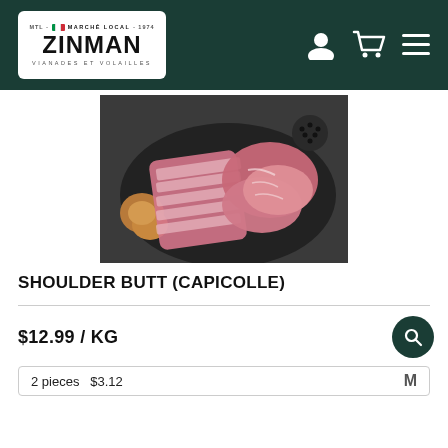[Figure (logo): Zinman Marché Local logo — white background with Italian flag stripe, ZINMAN in bold, VIANADES ET VOLAILLES below]
[Figure (photo): Raw pork shoulder butt cuts (capicolle) arranged on a dark round plate with onions and black peppercorns on a dark background]
SHOULDER BUTT (CAPICOLLE)
$12.99 / KG
2 pieces   $3.12